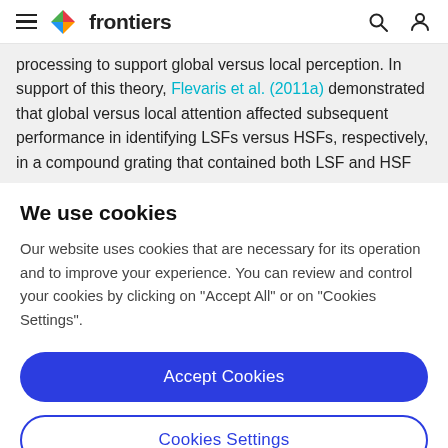frontiers
processing to support global versus local perception. In support of this theory, Flevaris et al. (2011a) demonstrated that global versus local attention affected subsequent performance in identifying LSFs versus HSFs, respectively, in a compound grating that contained both LSF and HSF
We use cookies
Our website uses cookies that are necessary for its operation and to improve your experience. You can review and control your cookies by clicking on "Accept All" or on "Cookies Settings".
Accept Cookies
Cookies Settings